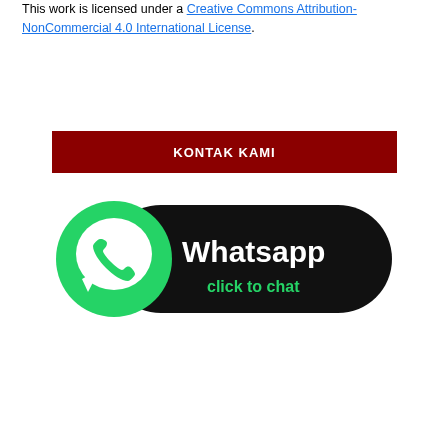This work is licensed under a Creative Commons Attribution-NonCommercial 4.0 International License.
KONTAK KAMI
[Figure (logo): WhatsApp click to chat button with green WhatsApp logo on left and black rounded rectangle with white 'Whatsapp' text and green 'click to chat' text on right]